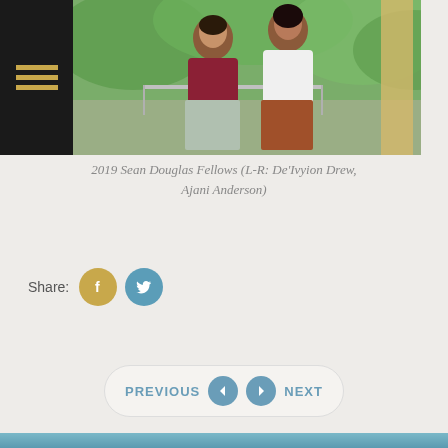[Figure (logo): Dark background with three horizontal gold/yellow lines forming a hamburger menu icon]
[Figure (photo): Two women standing outdoors on a walkway with green trees in background. One wearing a dark red/maroon lace top with floral skirt, the other in a white blouse with rust/brown skirt holding a clutch. Photo of 2019 Sean Douglas Fellows.]
2019 Sean Douglas Fellows (L-R: De'Ivyion Drew, Ajani Anderson)
Share:
[Figure (infographic): Share buttons: Facebook (gold circle with f icon) and Twitter (blue circle with bird icon)]
[Figure (infographic): Navigation bar with PREVIOUS and NEXT buttons with circular arrow icons in blue]